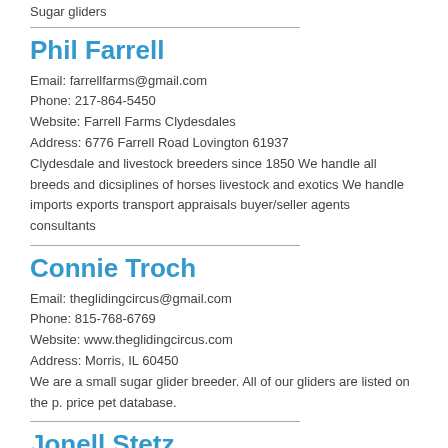Sugar gliders
Phil Farrell
Email: farrellfarms@gmail.com
Phone: 217-864-5450
Website: Farrell Farms Clydesdales
Address: 6776 Farrell Road Lovington 61937
Clydesdale and livestock breeders since 1850 We handle all breeds and dicsiplines of horses livestock and exotics We handle imports exports transport appraisals buyer/seller agents consultants
Connie Troch
Email: theglidingcircus@gmail.com
Phone: 815-768-6769
Website: www.theglidingcircus.com
Address: Morris, IL 60450
We are a small sugar glider breeder. All of our gliders are listed on the p. price pet database.
Jonell Stetz
Email: mshedgehogs@aol.com
Phone: 630-346-5122
Website: www.morningstarhedgehogs.com